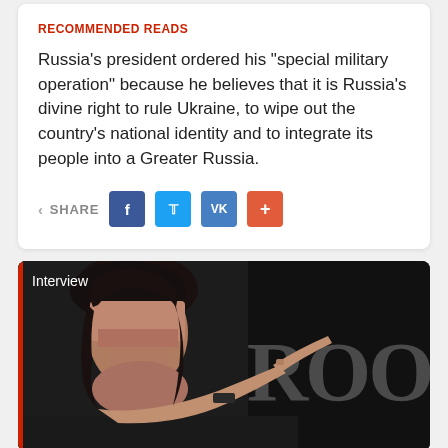RECOMMENDED READS
Russia's president ordered his "special military operation" because he believes that it is Russia's divine right to rule Ukraine, to wipe out the country's national identity and to integrate its people into a Greater Russia.
SHARE
[Figure (photo): A woman pointing with her finger at a Brookings Institution event, photographed in low light against a dark background with the word BROOKIN visible]
Interview